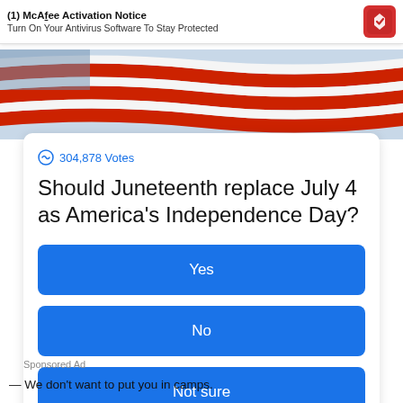[Figure (screenshot): McAfee Activation Notice notification bar at top: '(1) McAfee Activation Notice' bold title, subtitle 'Turn On Your Antivirus Software To Stay Protected', McAfee red logo icon on right]
[Figure (photo): Photo of American flag with red and white stripes, partial view]
304,878 Votes
Should Juneteenth replace July 4 as America's Independence Day?
Yes
No
Not sure
Sponsored Ad
— We don't want to put you in camps.